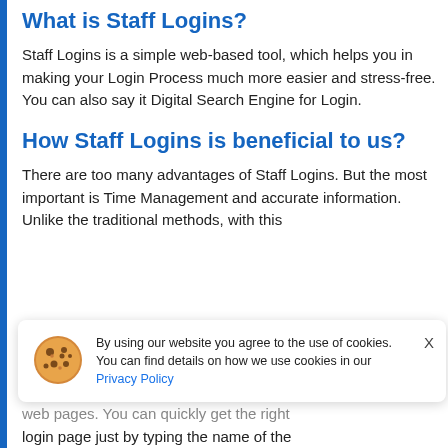What is Staff Logins?
Staff Logins is a simple web-based tool, which helps you in making your Login Process much more easier and stress-free. You can also say it Digital Search Engine for Login.
How Staff Logins is beneficial to us?
There are too many advantages of Staff Logins. But the most important is Time Management and accurate information. Unlike the traditional methods, with this
[Figure (other): Cookie consent banner with cookie icon, text about cookie usage with Privacy Policy link, and an X close button]
web pages. You can quickly get the right login page just by typing the name of the